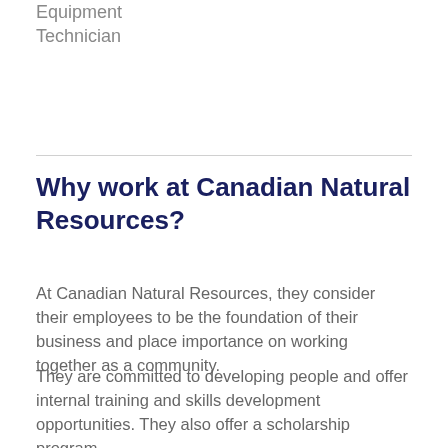Equipment
Technician
Why work at Canadian Natural Resources?
At Canadian Natural Resources, they consider their employees to be the foundation of their business and place importance on working together as a community.
They are committed to developing people and offer internal training and skills development opportunities. They also offer a scholarship program.